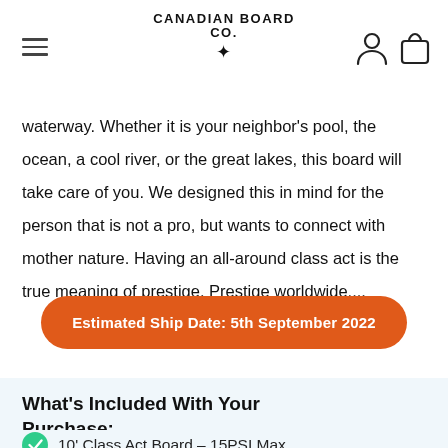CANADIAN BOARD CO. ✦
waterway. Whether it is your neighbor's pool, the ocean, a cool river, or the great lakes, this board will take care of you. We designed this in mind for the person that is not a pro, but wants to connect with mother nature. Having an all-around class act is the true meaning of prestige. Prestige worldwide....
Estimated Ship Date: 5th September 2022
What's Included With Your Purchase:
10' Class Act Board - 15PSI Max